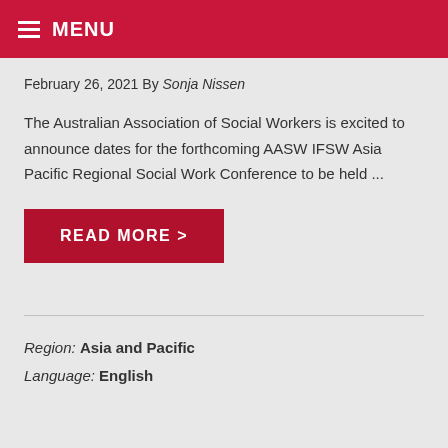MENU
February 26, 2021 By Sonja Nissen
The Australian Association of Social Workers is excited to announce dates for the forthcoming AASW IFSW Asia Pacific Regional Social Work Conference to be held ...
READ MORE >
Region: Asia and Pacific
Language: English